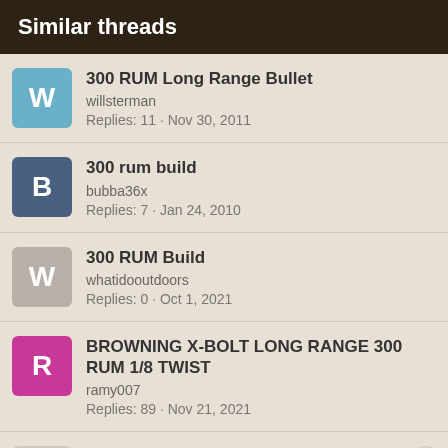Similar threads
300 RUM Long Range Bullet
willsterman
Replies: 11 · Nov 30, 2011
300 rum build
bubba36x
Replies: 7 · Jan 24, 2010
300 RUM Build
whatidooutdoors
Replies: 0 · Oct 1, 2021
BROWNING X-BOLT LONG RANGE 300 RUM 1/8 TWIST
ramy007
Replies: 89 · Nov 21, 2021
Got My first "long range killer" 300 rum need help
USMCRAHunter